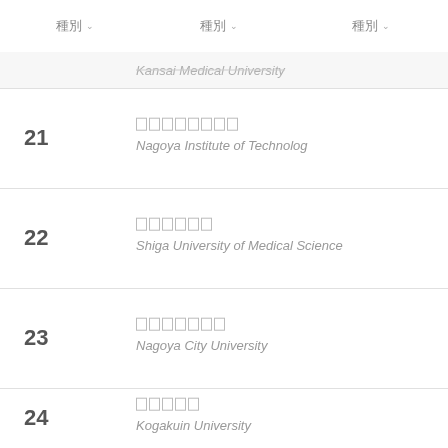種別 ∨  種別 ∨  種別 ∨
Kansai Medical University (partial, top)
21 — ナゴヤコウギョウダイガク — Nagoya Institute of Technolog
22 — シガイカダイガク — Shiga University of Medical Science
23 — ナゴヤシリツダイガク — Nagoya City University
24 — コウガクイン — Kogakuin University